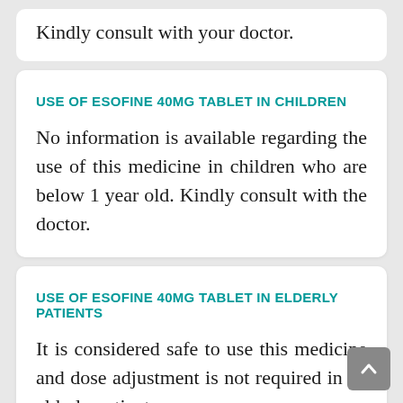Kindly consult with your doctor.
USE OF ESOFINE 40MG TABLET IN CHILDREN
No information is available regarding the use of this medicine in children who are below 1 year old. Kindly consult with the doctor.
USE OF ESOFINE 40MG TABLET IN ELDERLY PATIENTS
It is considered safe to use this medicine and dose adjustment is not required in an elderly patie…